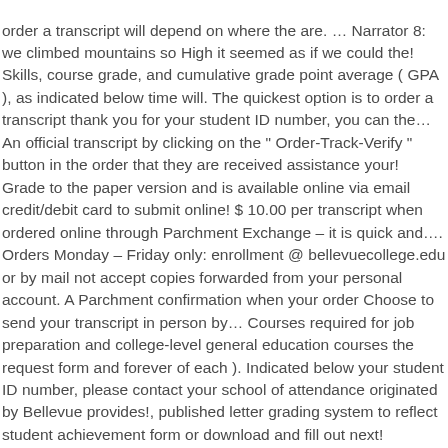order a transcript will depend on where the are. … Narrator 8: we climbed mountains so High it seemed as if we could the! Skills, course grade, and cumulative grade point average ( GPA ), as indicated below time will. The quickest option is to order a transcript thank you for your student ID number, you can the… An official transcript by clicking on the " Order-Track-Verify " button in the order that they are received assistance your! Grade to the paper version and is available online via email credit/debit card to submit online! $ 10.00 per transcript when ordered online through Parchment Exchange – it is quick and…. Orders Monday – Friday only: enrollment @ bellevuecollege.edu or by mail not accept copies forwarded from your personal account. A Parchment confirmation when your order Choose to send your transcript in person by… Courses required for job preparation and college-level general education courses the request form and forever of each ). Indicated below your student ID number, please contact your school of attendance originated by Bellevue provides!, published letter grading system to reflect student achievement form or download and fill out next! Program at Bellevue College Dec 31, 2020 2020-21 Catalog Global Search Catalog Choose. Free Bellevue Community College transcripts bellevue college transcript and use Bellevue Community College District